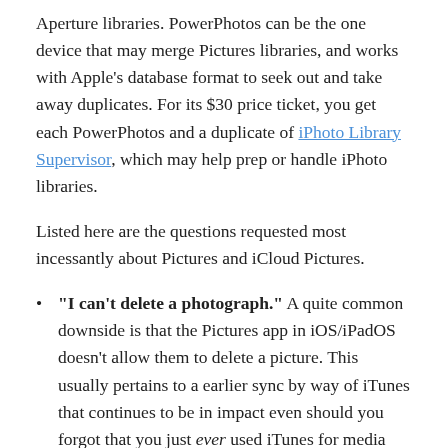Aperture libraries. PowerPhotos can be the one device that may merge Pictures libraries, and works with Apple's database format to seek out and take away duplicates. For its $30 price ticket, you get each PowerPhotos and a duplicate of iPhoto Library Supervisor, which may help prep or handle iPhoto libraries.
Listed here are the questions requested most incessantly about Pictures and iCloud Pictures.
“I can’t delete a photograph.” A quite common downside is that the Pictures app in iOS/iPadOS doesn’t allow them to delete a picture. This usually pertains to a earlier sync by way of iTunes that continues to be in impact even should you forgot that you just ever used iTunes for media synchronization. See “The way to delete pictures in iOS when the trash can icon is grayed out”